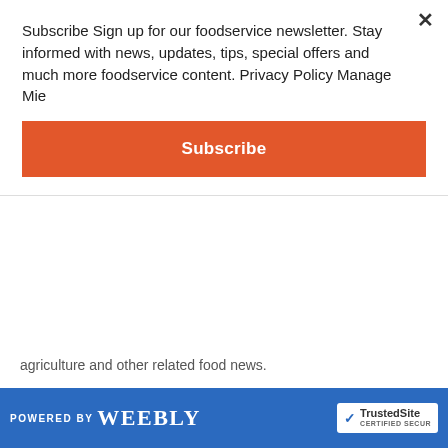Subscribe Sign up for our foodservice newsletter. Stay informed with news, updates, tips, special offers and much more foodservice content. Privacy Policy Manage Mie
Subscribe
agriculture and other related food news.
Do you Enjoy our E-news & Updates?
Get our foodservice E-news, blogs and LTO's sent to your inbox, SUBSCRIBE HERE.
Advertisement Opportunities
To get your foodservice business in our daily e-news, here.
Archives
POWERED BY weebly TrustedSite CERTIFIED SECUR